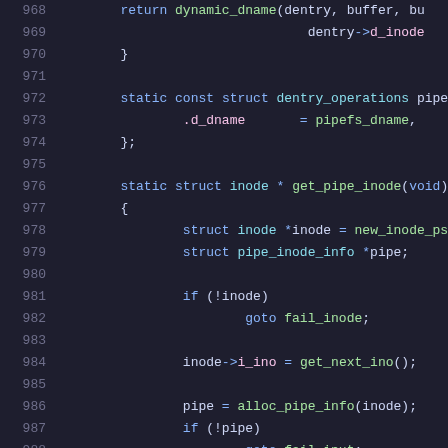Source code listing, lines 968-988, C kernel code
968	return dynamic_dname(dentry, buffer, bu
969					dentry->d_inode
970	}
971
972	static const struct dentry_operations pipefs_de
973		.d_dname		= pipefs_dname,
974	};
975
976	static struct inode * get_pipe_inode(void)
977	{
978		struct inode *inode = new_inode_pseudo(
979		struct pipe_inode_info *pipe;
980
981		if (!inode)
982				goto fail_inode;
983
984		inode->i_ino = get_next_ino();
985
986		pipe = alloc_pipe_info(inode);
987		if (!pipe)
988				goto fail_iput;